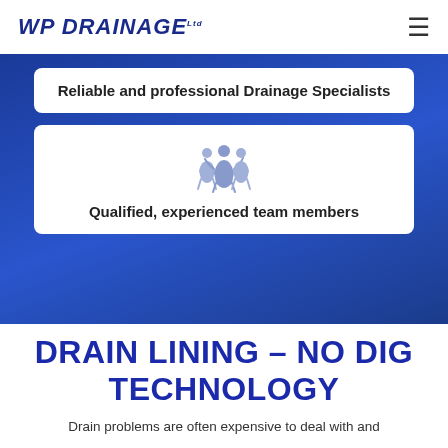WP DRAINAGE
Reliable and professional Drainage Specialists
[Figure (illustration): Light blue icon of a group of people/team members on a white card background]
Qualified, experienced team members
DRAIN LINING – NO DIG TECHNOLOGY
Drain problems are often expensive to deal with and